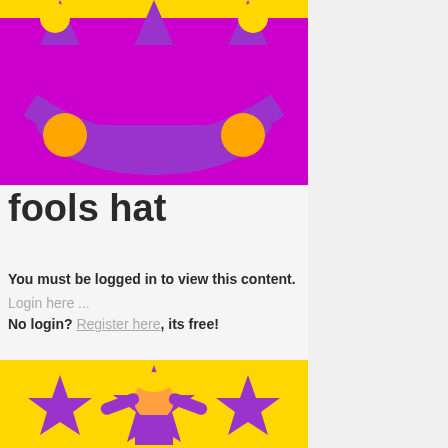[Figure (illustration): Jester fool's hat illustration with purple hat with points and orange/yellow circles on a purple background with yellow border]
fools hat
You must be logged in to view this content.
Login here ...
No login? Register here, its free!
[Figure (illustration): Jester/fool character illustration with purple costume and stars on yellow background]